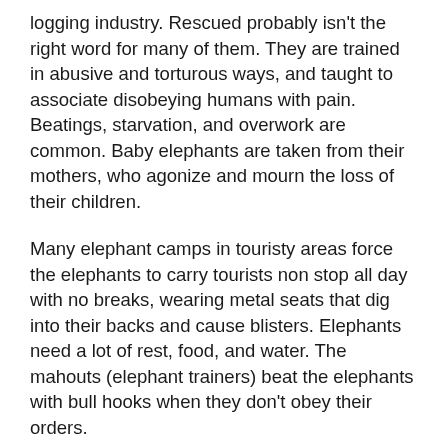logging industry. Rescued probably isn't the right word for many of them. They are trained in abusive and torturous ways, and taught to associate disobeying humans with pain. Beatings, starvation, and overwork are common. Baby elephants are taken from their mothers, who agonize and mourn the loss of their children.
Many elephant camps in touristy areas force the elephants to carry tourists non stop all day with no breaks, wearing metal seats that dig into their backs and cause blisters. Elephants need a lot of rest, food, and water. The mahouts (elephant trainers) beat the elephants with bull hooks when they don't obey their orders.
There are some humane elephant camps out there, however. Some people say that riding elephants should be boycotted. Unfortunately, the issue isn't black and white. Elephants need care–food, water, and veterinary services are all expensive for such large animals. And people will never stop wanting to see